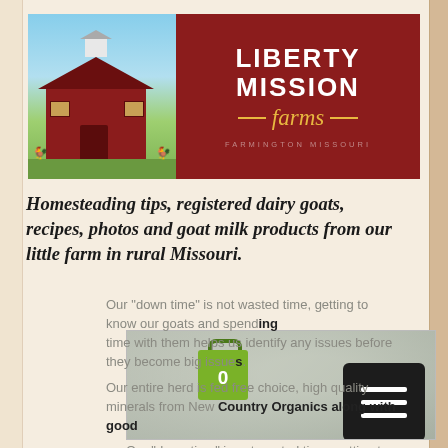[Figure (logo): Liberty Mission Farms logo banner: left side shows illustrated red barn on green/blue background, right side is dark red with 'LIBERTY MISSION farms FARMINGTON MISSOURI' text]
Homesteading tips, registered dairy goats, recipes, photos and goat milk products from our little farm in rural Missouri.
[Figure (screenshot): Website screenshot showing a green shopping bag icon with '0' and a dark hamburger menu button on a blurred grey-green background]
Our "down time" is not wasted time, getting to know our goats and spending time with them helps us identify any issues before they become big issues.
Our entire herd is fed free choice, high quality minerals from New Country Organics along with good